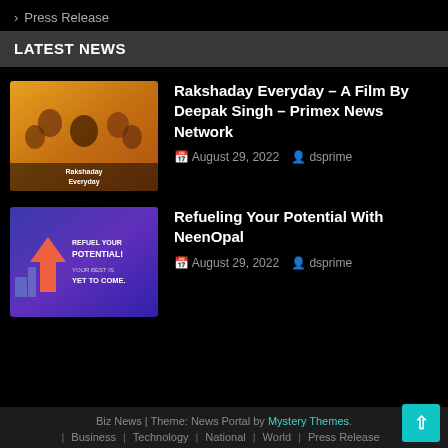> Press Release
LATEST NEWS
[Figure (photo): Movie poster for Rakshaday Everyday, orange/warm toned group photo of people]
Rakshaday Everyday – A Film By Deepak Singh – Primex News Network
August 29, 2022   dsprime
[Figure (photo): NeenOpal promotional banner with purple/blue gradient background, arrow graphic, text: REFUEL YOUR POTENTIAL, YOUR BEST IS YET TO COME.]
Refueling Your Potential With NeenOpal
August 29, 2022   dsprime
Biz News | Theme: News Portal by Mystery Themes. | Business | Technology | National | World | Press Release